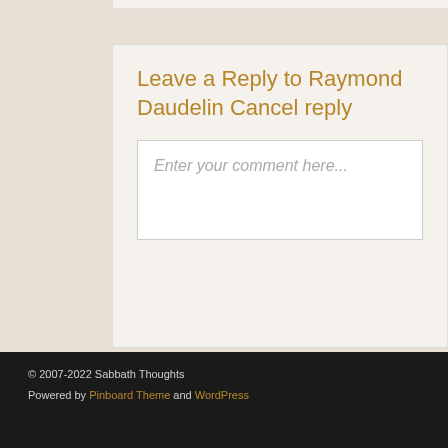Leave a Reply to Raymond Daudelin Cancel reply
Enter your comment here...
This site uses Akismet to reduce spam. Learn how your comment data is processed.
© 2007-2022 Sabbath Thoughts
Powered by Pinboard Theme and WordPress